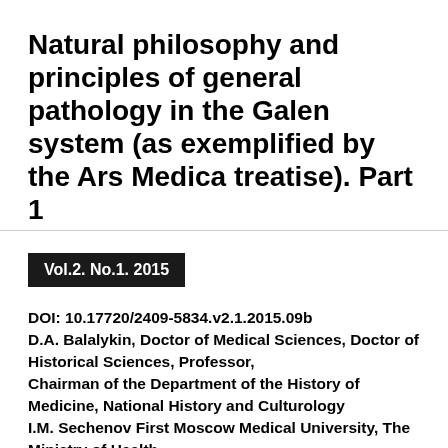Natural philosophy and principles of general pathology in the Galen system (as exemplified by the Ars Medica treatise). Part 1
Vol.2. No.1. 2015
DOI: 10.17720/2409-5834.v2.1.2015.09b
D.A. Balalykin, Doctor of Medical Sciences, Doctor of Historical Sciences, Professor,
Chairman of the Department of the History of Medicine, National History and Culturology
I.M. Sechenov First Moscow Medical University, The Ministry of Health
of the Russian Federation, Moscow (Russian